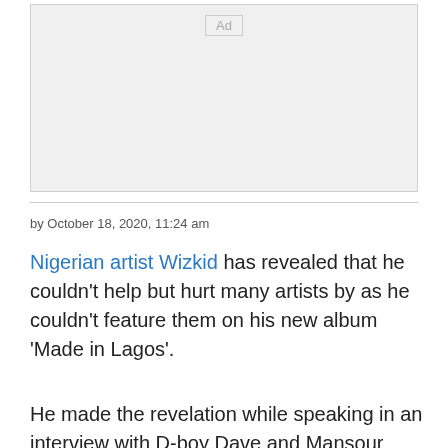[Figure (other): Advertisement placeholder box with 'Ad' label]
by October 18, 2020, 11:24 am
Nigerian artist Wizkid has revealed that he couldn't help but hurt many artists by as he couldn't feature them on his new album 'Made in Lagos'.
He made the revelation while speaking in an interview with D-boy Dave and Mansour